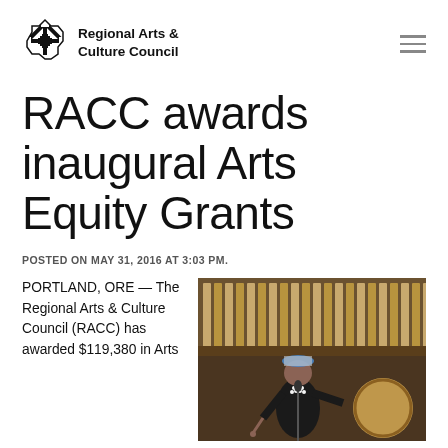Regional Arts & Culture Council
RACC awards inaugural Arts Equity Grants
POSTED ON MAY 31, 2016 AT 3:03 PM.
PORTLAND, ORE — The Regional Arts & Culture Council (RACC) has awarded $119,380 in Arts
[Figure (photo): An elderly woman in traditional indigenous dress holding a drum and drumstick, standing at a microphone in what appears to be a formal hall with ornate wooden organ pipes in the background.]